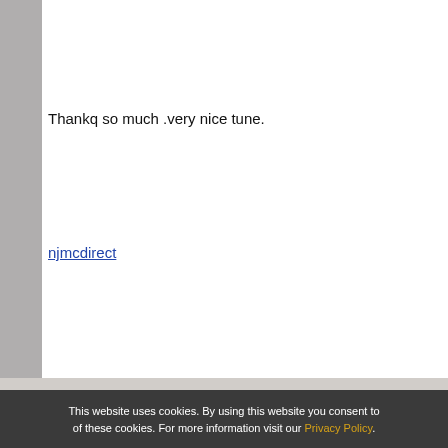Thankq so much .very nice tune.
njmcdirect
ADD A REPLY
GUITAR BLOG   GIFT CERTIFICATES   GUITAR CHORD CHART   CONTACT US
This website uses cookies. By using this website you consent to of these cookies. For more information visit our Privacy Policy.